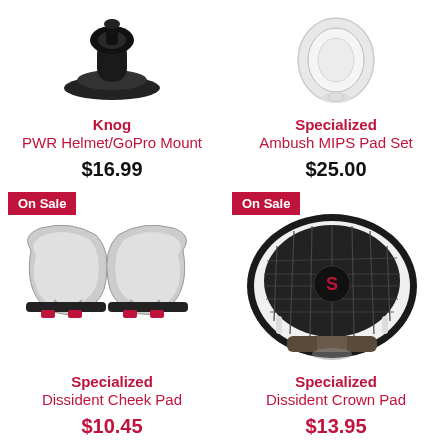[Figure (photo): Knog PWR Helmet/GoPro Mount - black mount accessory]
Knog
PWR Helmet/GoPro Mount
$16.99
[Figure (photo): Specialized Ambush MIPS Pad Set - clear/white helmet padding]
Specialized
Ambush MIPS Pad Set
$25.00
[Figure (photo): Specialized Dissident Cheek Pad - grey and black cheek pads with red tabs, On Sale badge]
On Sale
Specialized
Dissident Cheek Pad
$10.45
[Figure (photo): Specialized Dissident Crown Pad - black mesh helmet interior pad with Specialized logo, On Sale badge]
On Sale
Specialized
Dissident Crown Pad
$13.95